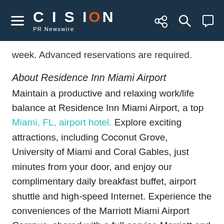CISION PR Newswire
week. Advanced reservations are required.
About Residence Inn Miami Airport
Maintain a productive and relaxing work/life balance at Residence Inn Miami Airport, a top Miami, FL, airport hotel. Explore exciting attractions, including Coconut Grove, University of Miami and Coral Gables, just minutes from your door, and enjoy our complimentary daily breakfast buffet, airport shuttle and high-speed Internet. Experience the conveniences of the Marriott Miami Airport Campus, shared with a full-service Marriott and Courtyard hotel. With 163 spacious suites, we provide the best temporary housing in Miami, featuring full kitchens,